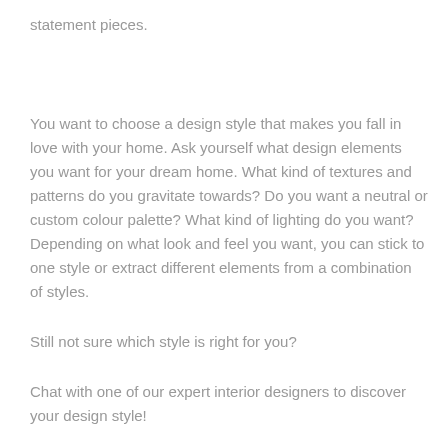statement pieces.
You want to choose a design style that makes you fall in love with your home. Ask yourself what design elements you want for your dream home. What kind of textures and patterns do you gravitate towards? Do you want a neutral or custom colour palette? What kind of lighting do you want? Depending on what look and feel you want, you can stick to one style or extract different elements from a combination of styles.
Still not sure which style is right for you?
Chat with one of our expert interior designers to discover your design style!